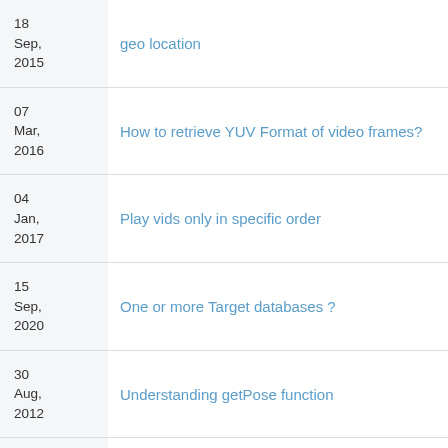| Date | Title |
| --- | --- |
| 18 Sep, 2015 | geo location |
| 07 Mar, 2016 | How to retrieve YUV Format of video frames? |
| 04 Jan, 2017 | Play vids only in specific order |
| 15 Sep, 2020 | One or more Target databases ? |
| 30 Aug, 2012 | Understanding getPose function |
| 09 Jan, 2017 | Object recognition for large objects (like a ca... |
| 25 |  |